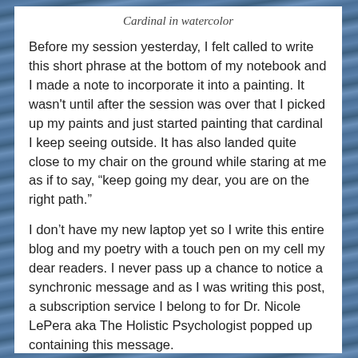Cardinal in watercolor
Before my session yesterday, I felt called to write this short phrase at the bottom of my notebook and I made a note to incorporate it into a painting. It wasn't until after the session was over that I picked up my paints and just started painting that cardinal I keep seeing outside. It has also landed quite close to my chair on the ground while staring at me as if to say, “keep going my dear, you are on the right path.”
I don’t have my new laptop yet so I write this entire blog and my poetry with a touch pen on my cell my dear readers. I never pass up a chance to notice a synchronic message and as I was writing this post, a subscription service I belong to for Dr. Nicole LePera aka The Holistic Psychologist popped up containing this message.